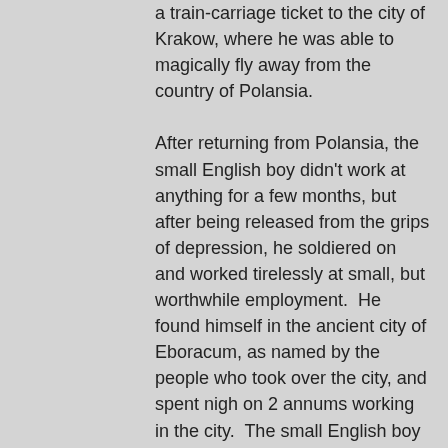a train-carriage ticket to the city of Krakow, where he was able to magically fly away from the country of Polansia. After returning from Polansia, the small English boy didn't work at anything for a few months, but after being released from the grips of depression, he soldiered on and worked tirelessly at small, but worthwhile employment.  He found himself in the ancient city of Eboracum, as named by the people who took over the city, and spent nigh on 2 annums working in the city.  The small English boy decided that he wanted to taste some more of the foreign culture that was so dear to his soul, and found employment in the biggest country in the entire world: